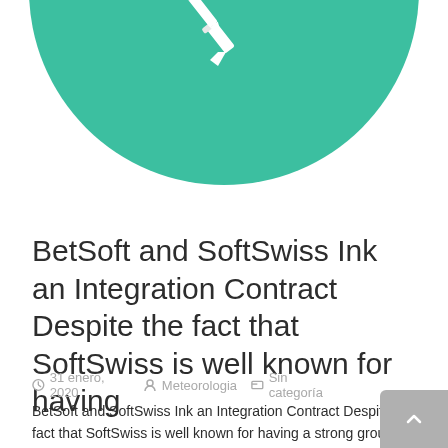[Figure (illustration): Large teal/green circle with a white pencil icon at the top center, partially cropped at top of page]
BetSoft and SoftSwiss Ink an Integration Contract Despite the fact that SoftSwiss is well known for having
31 enero, 2020   Meteorologia   Sin categoría
BetSoft and SoftSwiss Ink an Integration Contract Despite the fact that SoftSwiss is well known for having a strong group of